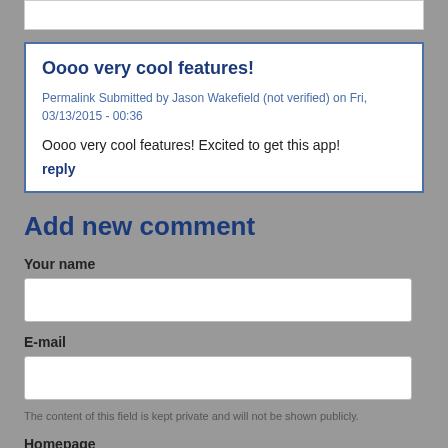Oooo very cool features!
Permalink Submitted by Jason Wakefield (not verified) on Fri, 03/13/2015 - 00:36
Oooo very cool features! Excited to get this app!
reply
Add new comment
Your name
E-mail
The content of this field is kept private and will not be shown publicly.
Homepage